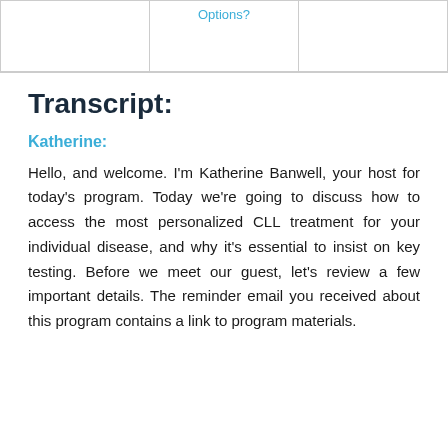|  | Options? |  |
| --- | --- | --- |
|  |  |  |
Transcript:
Katherine:
Hello, and welcome. I'm Katherine Banwell, your host for today's program. Today we're going to discuss how to access the most personalized CLL treatment for your individual disease, and why it's essential to insist on key testing. Before we meet our guest, let's review a few important details. The reminder email you received about this program contains a link to program materials.